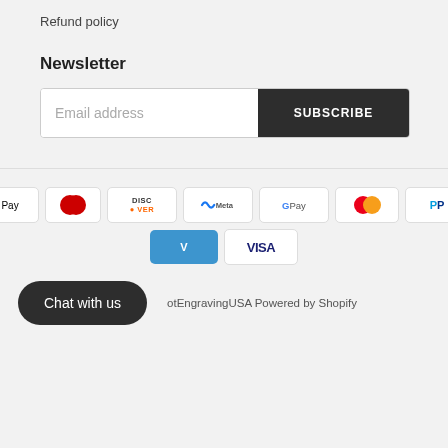Refund policy
Newsletter
[Figure (screenshot): Email address input field with SUBSCRIBE button]
[Figure (infographic): Payment method icons: American Express, Apple Pay, Diners Club, Discover, Meta Pay, Google Pay, Mastercard, PayPal, Shop Pay, Venmo, Visa]
Chat with us
otEngravingUSA Powered by Shopify